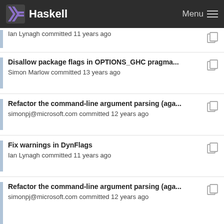Haskell  Menu
Ian Lynagh committed 11 years ago
Disallow package flags in OPTIONS_GHC pragma...
Simon Marlow committed 13 years ago
Refactor the command-line argument parsing (aga...
simonpj@microsoft.com committed 12 years ago
Fix warnings in DynFlags
Ian Lynagh committed 11 years ago
Refactor the command-line argument parsing (aga...
simonpj@microsoft.com committed 12 years ago
The templateHaskellOk check should only run in s...
simonpj@microsoft.com committed 12 years ago
Fix warnings in DynFlags
Ian Lynagh committed 11 years ago
The templateHaskellOk check should only run in s...